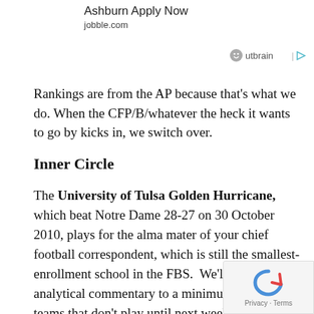Ashburn Apply Now
jobble.com
[Figure (logo): Outbrain logo with smiley face icon and play button]
Rankings are from the AP because that’s what we do. When the CFP/B/whatever the heck it wants to go by kicks in, we switch over.
Inner Circle
The University of Tulsa Golden Hurricane, which beat Notre Dame 28-27 on 30 October 2010, plays for the alma mater of your chief football correspondent, which is still the smallest-enrollment school in the FBS. We’ll keep the analytical commentary to a minimum for the teams that don’t play until next week (which includes our whole FBS Inner Circle), but must mention with gratification that Tulsa, the American Athletic Confe... West titlist last season, is bringing back a lot of the (much) improved defense of 2020, and may well be able